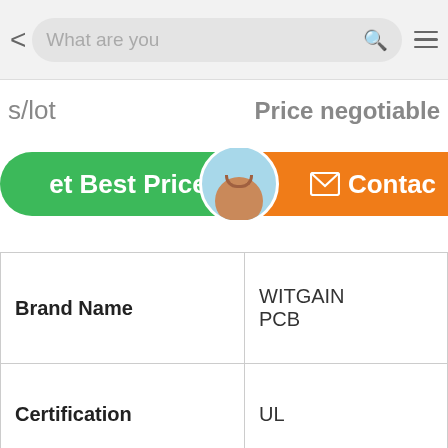[Figure (screenshot): Mobile app navigation bar with back arrow, search box showing 'What are you', a green search icon, and a hamburger menu icon]
s/lot   Price negotiable
[Figure (screenshot): Green 'Get Best Price' button and orange 'Contact' button with envelope icon, and a 'Chat Now' overlay with an avatar]
| Property | Value |
| --- | --- |
| Brand Name | WITGAIN PCB |
| Certification | UL |
| Delivery Time | 20 days |